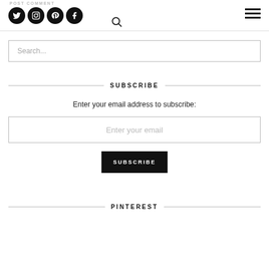POST COMMENT
Search...
SUBSCRIBE
Enter your email address to subscribe:
Enter your email
SUBSCRIBE
PINTEREST